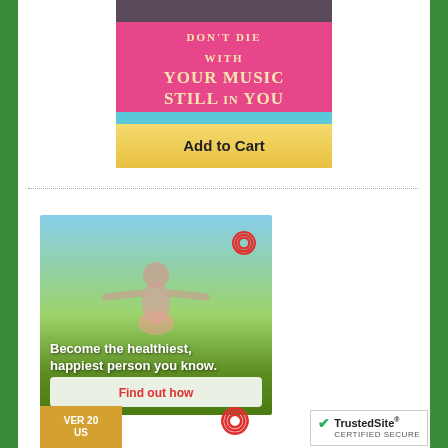[Figure (illustration): Book cover advertisement for 'Don't Die With Your Music Still In You' with pink background and gold text, with an 'Add to Cart' yellow button below]
[Figure (photo): Advertisement showing a girl with arms outstretched in a field with text 'Become the healthiest, happiest person you know.' and a 'Find out how' button, with a red spiral logo]
[Figure (logo): TrustedSite certified secure badge in bottom right corner]
[Figure (illustration): Partial thumbnail of another advertisement at the bottom left with text 'OVER 20' and a red spiral logo]